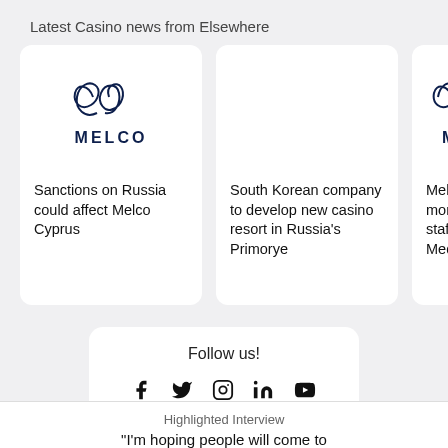Latest Casino news from Elsewhere
[Figure (logo): Melco logo with stylized double-loop symbol above the word MELCO in dark navy]
Sanctions on Russia could affect Melco Cyprus
[Figure (other): Empty card with no logo visible]
South Korean company to develop new casino resort in Russia's Primorye
[Figure (logo): Partial Melco logo cut off at right edge]
Melco Cy more tha staff for l Mediterr
Follow us!
[Figure (infographic): Social media icons: Facebook, Twitter, Instagram, LinkedIn, YouTube]
Highlighted Interview
"I'm hoping people will come to